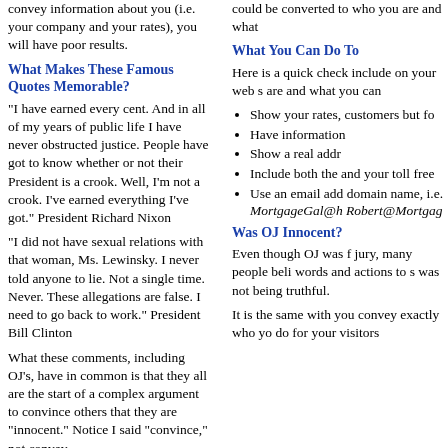convey information about you (i.e. your company and your rates), you will have poor results.
What Makes These Famous Quotes Memorable?
"I have earned every cent. And in all of my years of public life I have never obstructed justice. People have got to know whether or not their President is a crook. Well, I'm not a crook. I've earned everything I've got." President Richard Nixon
"I did not have sexual relations with that woman, Ms. Lewinsky. I never told anyone to lie. Not a single time. Never. These allegations are false. I need to go back to work." President Bill Clinton
What these comments, including OJ's, have in common is that they all are the start of a complex argument to convince others that they are "innocent." Notice I said "convince," not convey.
Convince Or Convey?
Many lie detector experts and law enforcement
could be converted to who you are and what
What You Can Do To
Here is a quick check include on your web s are and what you can
Show your rates, customers but fo
Have information
Show a real addr
Include both the and your toll free
Use an email add domain name, i.e. MortgageGal@h Robert@Mortgag
Was OJ Innocent?
Even though OJ was f jury, many people beli words and actions to s was not being truthful.
It is the same with you convey exactly who yo do for your visitors